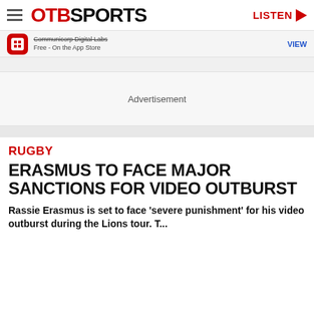OTB SPORTS | LISTEN
Communicorp Digital Labs Free - On the App Store VIEW
Advertisement
RUGBY
ERASMUS TO FACE MAJOR SANCTIONS FOR VIDEO OUTBURST
Rassie Erasmus is set to face 'severe punishment' for his video outburst during the Lions tour. T...